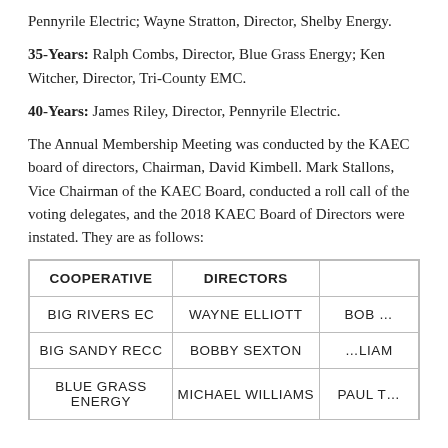Pennyrile Electric; Wayne Stratton, Director, Shelby Energy.
35-Years: Ralph Combs, Director, Blue Grass Energy; Ken Witcher, Director, Tri-County EMC.
40-Years: James Riley, Director, Pennyrile Electric.
The Annual Membership Meeting was conducted by the KAEC board of directors, Chairman, David Kimbell. Mark Stallons, Vice Chairman of the KAEC Board, conducted a roll call of the voting delegates, and the 2018 KAEC Board of Directors were instated. They are as follows:
| COOPERATIVE | DIRECTORS |  |
| --- | --- | --- |
| BIG RIVERS EC | WAYNE ELLIOTT | BOB … |
| BIG SANDY RECC | BOBBY SEXTON | …LIAM |
| BLUE GRASS ENERGY | MICHAEL WILLIAMS | PAUL T… |